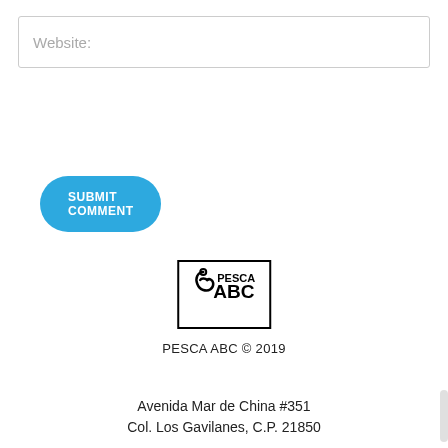Website:
SUBMIT COMMENT
[Figure (logo): PESCA ABC logo with fishing hook icon inside a black border rectangle]
PESCA ABC © 2019
Avenida Mar de China #351
Col. Los Gavilanes, C.P. 21850